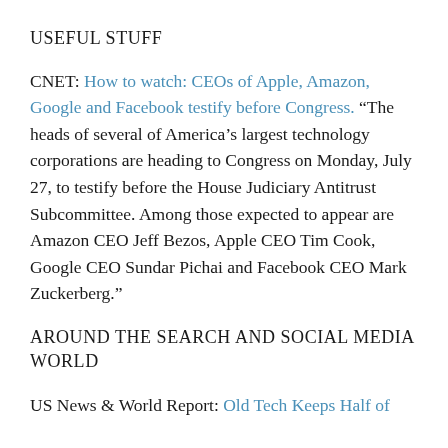USEFUL STUFF
CNET: How to watch: CEOs of Apple, Amazon, Google and Facebook testify before Congress. “The heads of several of America’s largest technology corporations are heading to Congress on Monday, July 27, to testify before the House Judiciary Antitrust Subcommittee. Among those expected to appear are Amazon CEO Jeff Bezos, Apple CEO Tim Cook, Google CEO Sundar Pichai and Facebook CEO Mark Zuckerberg.”
AROUND THE SEARCH AND SOCIAL MEDIA WORLD
US News & World Report: Old Tech Keeps Half of